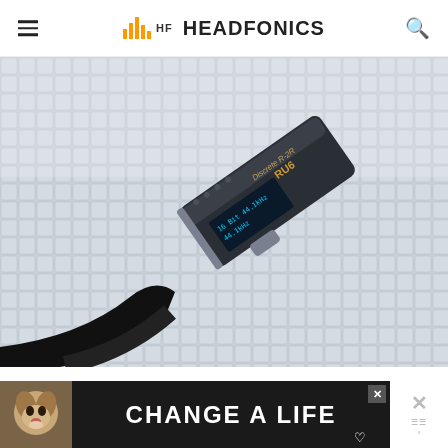HEADFONICS
[Figure (photo): A dark rectangular portable audio device (Cayin RU6 Discrete R-2R DAC/amp dongle) lying at an angle on a silver metallic grid background. The device shows an OLED display reading 44.1kHz. A USB-C cable is attached to the bottom.]
SYNERGY
[Figure (photo): Advertisement banner showing a dog and text 'CHANGE A LIFE' on dark background]